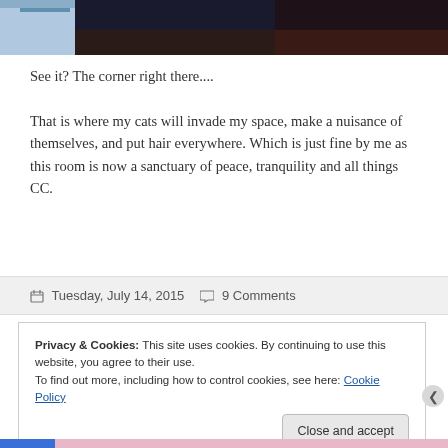[Figure (photo): Partial photo visible at top — appears to show a room corner with dark and light areas]
See it? The corner right there....
That is where my cats will invade my space, make a nuisance of themselves, and put hair everywhere. Which is just fine by me as this room is now a sanctuary of peace, tranquility and all things CC.
Tuesday, July 14, 2015   9 Comments
Privacy & Cookies: This site uses cookies. By continuing to use this website, you agree to their use.
To find out more, including how to control cookies, see here: Cookie Policy
Close and accept